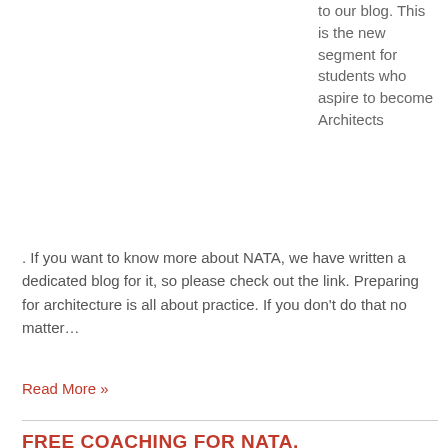Welcome to our blog. This is the new segment for students who aspire to become Architects. If you want to know more about NATA, we have written a dedicated blog for it, so please check out the link. Preparing for architecture is all about practice. If you don't do that no matter…
Read More »
FREE COACHING FOR NATA, ARCHITECTURE